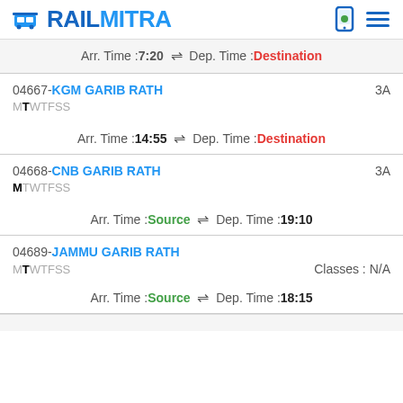RAILMITRA
Arr. Time :7:20 ⇌ Dep. Time :Destination
04667-KGM GARIB RATH MTWTFSS 3A Arr. Time :14:55 ⇌ Dep. Time :Destination
04668-CNB GARIB RATH MTWTFSS 3A Arr. Time :Source ⇌ Dep. Time :19:10
04689-JAMMU GARIB RATH MTWTFSS Classes : N/A Arr. Time :Source ⇌ Dep. Time :18:15